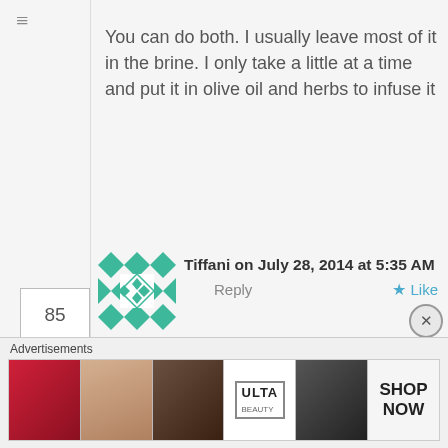You can do both. I usually leave most of it in the brine. I only take a little at a time and put it in olive oil and herbs to infuse it
85
Tiffani on July 28, 2014 at 5:35 AM
Reply
Like
Hello! Thanks for sharing! So clear and easy to follow. Quick question, could i skip step the first two steps and in place of that use my homemade milk kefir? So i would pour the rennet directly into the kefir yogurt of the same measurements. Do you think it
Advertisements